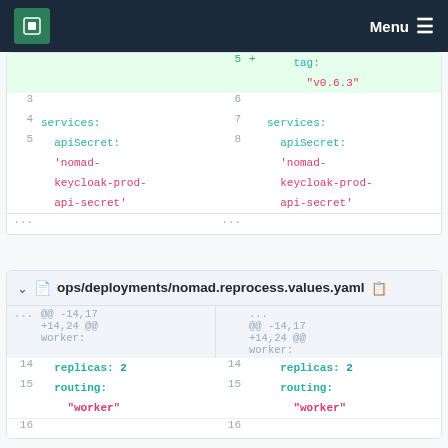MPCDF  Menu
[Figure (screenshot): Code diff showing two columns. Left side has line numbers 3,4,5 with 'services:', 'apiSecret:', 'nomad-keycloak-prod-api-secret'. Right side has lines 5,6,7,8 with added line 5: 'tag: "v0.6.3"', then line 7 'services:', line 8 'apiSecret:', 'nomad-keycloak-prod-api-secret'. Ellipsis rows at bottom.]
ops/deployments/nomad.reprocess.values.yaml
[Figure (screenshot): Code diff for ops/deployments/nomad.reprocess.values.yaml. Shows @@ -14,17 +14,24 @@ section with worker:, replicas: 2 (line 14 both sides), routing: (line 15 both sides), "worker" in red, line 16 visible at bottom.]